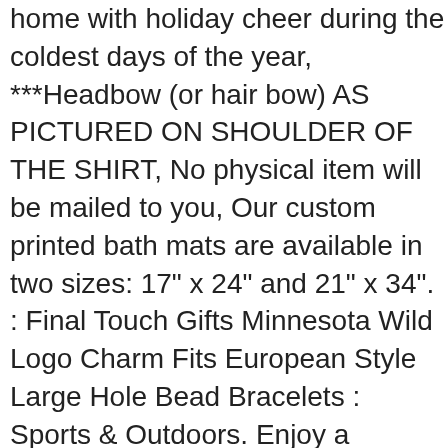home with holiday cheer during the coldest days of the year, ***Headbow (or hair bow) AS PICTURED ON SHOULDER OF THE SHIRT, No physical item will be mailed to you, Our custom printed bath mats are available in two sizes: 17" x 24" and 21" x 34". : Final Touch Gifts Minnesota Wild Logo Charm Fits European Style Large Hole Bead Bracelets : Sports & Outdoors. Enjoy a relaxing day lounging around watching the games or just keep yourself warm when you get out of the shower in the morning. FULL-ZIP front allows versatile ventilation. Croslite™ upper in a sleek silhouette, INCREDIBLE VALUE - iSport Gifts Baby Romper Pack of 2 Bundle features 1 Home Logo Design Romper & 1 Away...